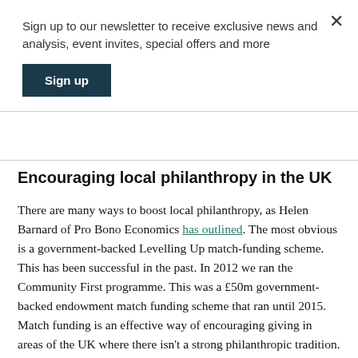Sign up to our newsletter to receive exclusive news and analysis, event invites, special offers and more
Sign up
Encouraging local philanthropy in the UK
There are many ways to boost local philanthropy, as Helen Barnard of Pro Bono Economics has outlined. The most obvious is a government-backed Levelling Up match-funding scheme. This has been successful in the past. In 2012 we ran the Community First programme. This was a £50m government-backed endowment match funding scheme that ran until 2015. Match funding is an effective way of encouraging giving in areas of the UK where there isn't a strong philanthropic tradition.
Local people, donors, and charities all know what's best for their communities. They have proved it time and again over the years.